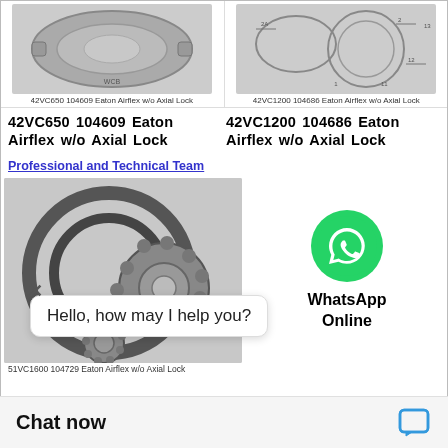[Figure (photo): 42VC650 104609 Eaton Airflex clutch product photo, top left]
42VC650 104609 Eaton Airflex w/o Axial Lock
[Figure (schematic): 42VC1200 104686 Eaton Airflex clutch exploded diagram, top right]
42VC1200 104686 Eaton Airflex w/o Axial Lock
42VC650 104609 Eaton Airflex w/o Axial Lock
42VC1200 104686 Eaton Airflex w/o Axial Lock
Professional and Technical Team
[Figure (photo): 51VC1600 104729 Eaton Airflex clutch components photo]
[Figure (logo): WhatsApp green phone icon]
WhatsApp Online
51VC1600 104729 Eaton Airflex w/o Axial Lock
Hello, how may I help you?
Chat now